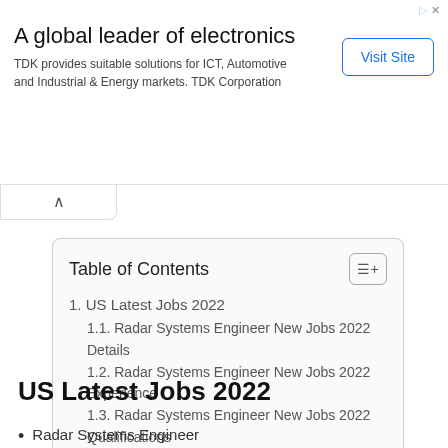[Figure (infographic): Advertisement banner: 'A global leader of electronics. TDK provides suitable solutions for ICT, Automotive and Industrial & Energy markets. TDK Corporation' with a 'Visit Site' button.]
| Table of Contents |
| --- |
| 1. US Latest Jobs 2022 |
| 1.1. Radar Systems Engineer New Jobs 2022 Details |
| 1.2. Radar Systems Engineer New Jobs 2022 Experience |
| 1.3. Radar Systems Engineer New Jobs 2022 Qualifications |
US Latest Jobs 2022
Radar Systems Engineer